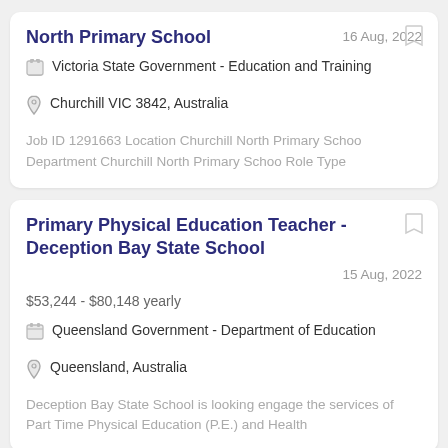North Primary School
16 Aug, 2022
Victoria State Government - Education and Training
Churchill VIC 3842, Australia
Job ID 1291663 Location Churchill North Primary Schoo Department Churchill North Primary Schoo Role Type
Primary Physical Education Teacher - Deception Bay State School
15 Aug, 2022
$53,244 - $80,148 yearly
Queensland Government - Department of Education
Queensland, Australia
Deception Bay State School is looking engage the services of Part Time Physical Education (P.E.) and Health